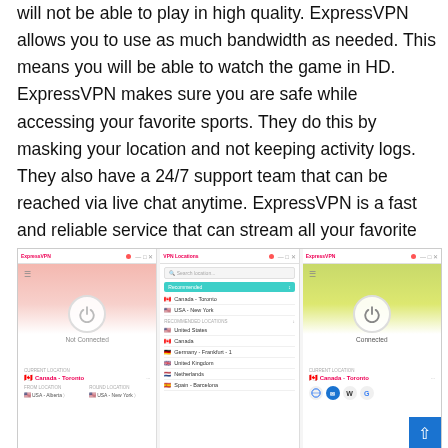will not be able to play in high quality. ExpressVPN allows you to use as much bandwidth as needed. This means you will be able to watch the game in HD. ExpressVPN makes sure you are safe while accessing your favorite sports. They do this by masking your location and not keeping activity logs. They also have a 24/7 support team that can be reached via live chat anytime. ExpressVPN is a fast and reliable service that can stream all your favorite sports with.
[Figure (screenshot): Three screenshots of ExpressVPN application: left panel shows 'Not Connected' state with red/pink gradient and power button, middle panel shows VPN location list with options including Canada - Toronto, USA - New York, United States, Canada, Germany - Frankfurt - 1, United Kingdom, Netherlands, Spain - Barcelona, right panel shows 'Connected' state with green/yellow gradient and power button, with browser shortcut icons below.]